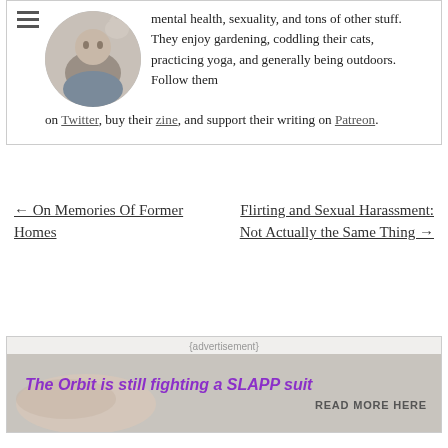[Figure (photo): Circular author photo showing a person with a cat]
mental health, sexuality, and tons of other stuff. They enjoy gardening, coddling their cats, practicing yoga, and generally being outdoors. Follow them on Twitter, buy their zine, and support their writing on Patreon.
← On Memories Of Former Homes
Flirting and Sexual Harassment: Not Actually the Same Thing →
[Figure (infographic): Advertisement banner: {advertisement} The Orbit is still fighting a SLAPP suit READ MORE HERE]